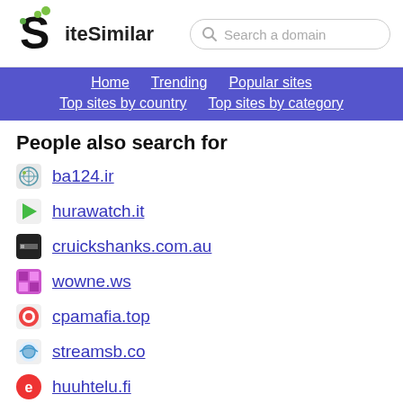SiteSimilar - Search a domain
Home | Trending | Popular sites | Top sites by country | Top sites by category
People also search for
ba124.ir
hurawatch.it
cruickshanks.com.au
wowne.ws
cpamafia.top
streamsb.co
huuhtelu.fi
angliss.com.sg